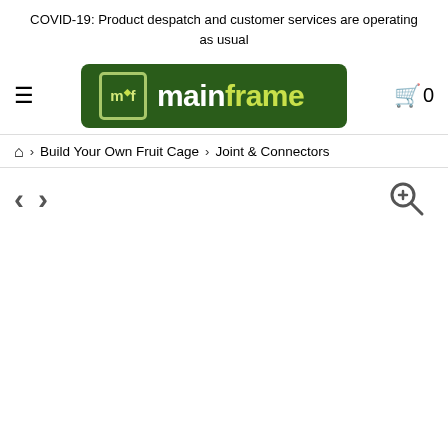COVID-19: Product despatch and customer services are operating as usual
[Figure (logo): Mainframe logo: green rounded rectangle with mf icon and 'mainframe' text in white and yellow-green]
Build Your Own Fruit Cage > Joint & Connectors
[Figure (screenshot): Product image navigation area with left/right arrows and zoom magnifier icon, empty product image area below]